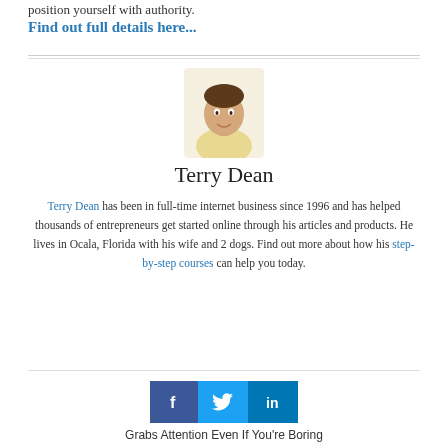position yourself with authority.
Find out full details here...
[Figure (photo): Headshot photo of Terry Dean, a man in a light yellow shirt]
Terry Dean
Terry Dean has been in full-time internet business since 1996 and has helped thousands of entrepreneurs get started online through his articles and products. He lives in Ocala, Florida with his wife and 2 dogs. Find out more about how his step-by-step courses can help you today.
[Figure (infographic): Social sharing buttons: Facebook (dark blue), Twitter (light blue), LinkedIn (blue)]
Grabs Attention Even If You're Boring